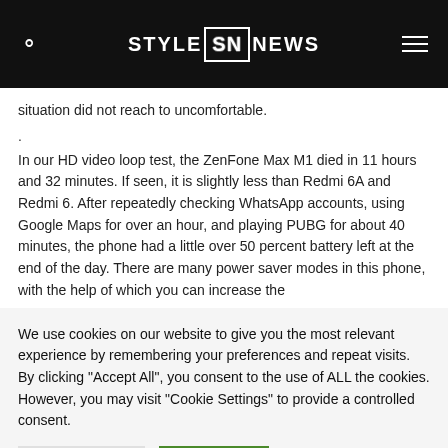STYLE SN NEWS
situation did not reach to uncomfortable.
.
In our HD video loop test, the ZenFone Max M1 died in 11 hours and 32 minutes. If seen, it is slightly less than Redmi 6A and Redmi 6. After repeatedly checking WhatsApp accounts, using Google Maps for over an hour, and playing PUBG for about 40 minutes, the phone had a little over 50 percent battery left at the end of the day. There are many power saver modes in this phone, with the help of which you can increase the
We use cookies on our website to give you the most relevant experience by remembering your preferences and repeat visits. By clicking "Accept All", you consent to the use of ALL the cookies. However, you may visit "Cookie Settings" to provide a controlled consent.
Cookie Settings | Accept All